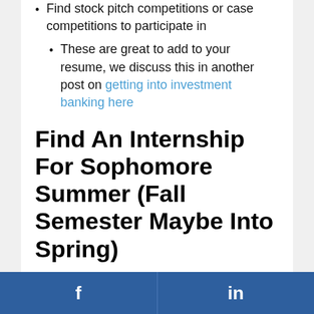Find stock pitch competitions or case competitions to participate in
These are great to add to your resume, we discuss this in another post on getting into investment banking here
Find An Internship For Sophomore Summer (Fall Semester Maybe Into Spring)
This is trickier to do and most likely might be accomplished via networking
BUT you'd be surprised how many small
f   in